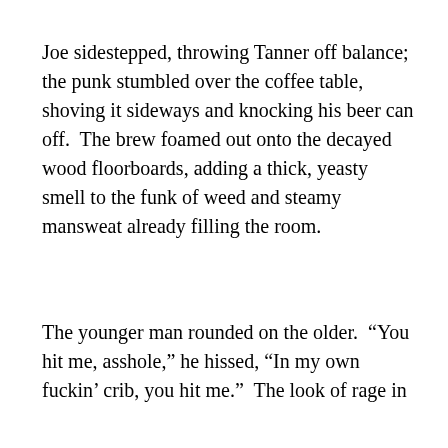Joe sidestepped, throwing Tanner off balance; the punk stumbled over the coffee table, shoving it sideways and knocking his beer can off.  The brew foamed out onto the decayed wood floorboards, adding a thick, yeasty smell to the funk of weed and steamy mansweat already filling the room.
The younger man rounded on the older.  “You hit me, asshole,” he hissed, “In my own fuckin’ crib, you hit me.”  The look of rage in